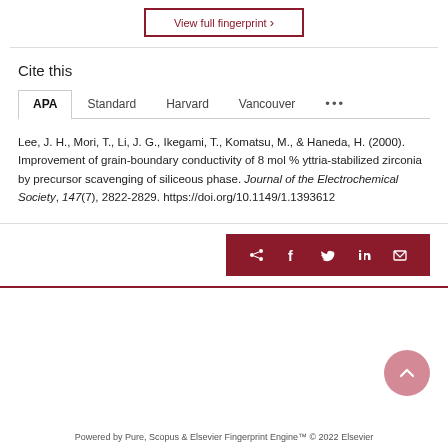View full fingerprint ›
Cite this
APA | Standard | Harvard | Vancouver | ...
Lee, J. H., Mori, T., Li, J. G., Ikegami, T., Komatsu, M., & Haneda, H. (2000). Improvement of grain-boundary conductivity of 8 mol % yttria-stabilized zirconia by precursor scavenging of siliceous phase. Journal of the Electrochemical Society, 147(7), 2822-2829. https://doi.org/10.1149/1.1393612
[Figure (other): Social share icons bar (dark red background) with share, Facebook, Twitter, LinkedIn, and email icons]
Powered by Pure, Scopus & Elsevier Fingerprint Engine™ © 2022 Elsevier